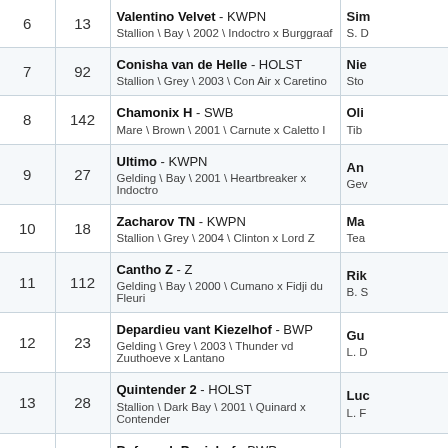| # | No | Horse | Rider/Owner |
| --- | --- | --- | --- |
| 6 | 13 | Valentino Velvet - KWPN
Stallion \ Bay \ 2002 \ Indoctro x Burggraaf | Si...
S. D... |
| 7 | 92 | Conisha van de Helle - HOLST
Stallion \ Grey \ 2003 \ Con Air x Caretino | Nie...
Sto... |
| 8 | 142 | Chamonix H - SWB
Mare \ Brown \ 2001 \ Carnute x Caletto I | Oli...
Tib... |
| 9 | 27 | Ultimo - KWPN
Gelding \ Bay \ 2001 \ Heartbreaker x Indoctro | An...
Gev... |
| 10 | 18 | Zacharov TN - KWPN
Stallion \ Grey \ 2004 \ Clinton x Lord Z | Ma...
Tea... |
| 11 | 112 | Cantho Z - Z
Gelding \ Bay \ 2000 \ Cumano x Fidji du Fleuri | Rik...
B. S... |
| 12 | 23 | Depardieu vant Kiezelhof - BWP
Gelding \ Grey \ 2003 \ Thunder vd Zuuthoeve x Lantano | Gu...
L. D... |
| 13 | 28 | Quintender 2 - HOLST
Stallion \ Dark Bay \ 2001 \ Quinard x Contender | Luc...
L. F... |
| 14 | 64 | Bufero vh Panishof - BWP
Stallion \ Bay \ 2001 \ Parco x Polidiktus vd Helle | Dir...
J. &... |
| 15 | 72 | Upper Star - KWPN
Gelding \ Grey \ 2001 \ Metall x Zeus | Jer...
Hip... |